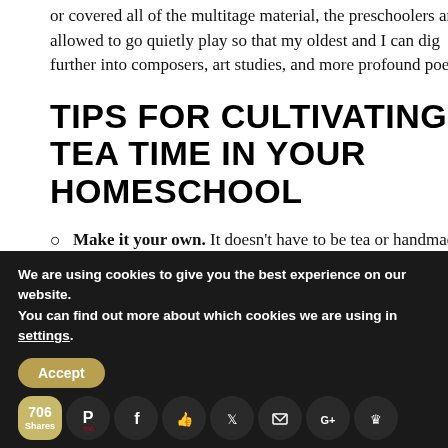or covered all of the multitage material, the preschoolers are allowed to go quietly play so that my oldest and I can dig further into composers, art studies, and more profound poetry.
TIPS FOR CULTIVATING A TEA TIME IN YOUR HOMESCHOOL
Make it your own. It doesn't have to be tea or handmade treats. Use juices or milk and
We are using cookies to give you the best experience on our website.
You can find out more about which cookies we are using in settings.